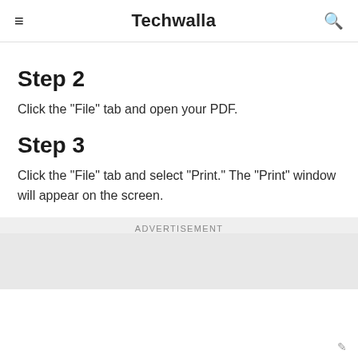≡  Techwalla  🔍
Step 2
Click the "File" tab and open your PDF.
Step 3
Click the "File" tab and select "Print." The "Print" window will appear on the screen.
Advertisement